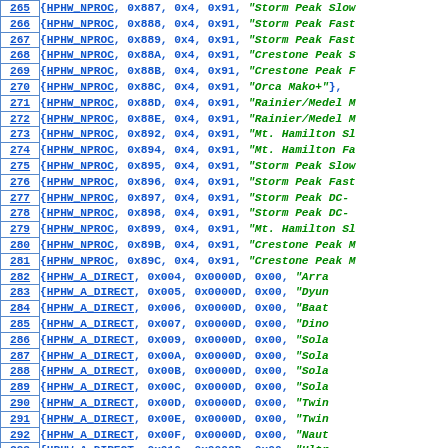| line | code |
| --- | --- |
| 265 | {HPHW_NPROC, 0x887, 0x4, 0x91, "Storm Peak Slow |
| 266 | {HPHW_NPROC, 0x888, 0x4, 0x91, "Storm Peak Fast |
| 267 | {HPHW_NPROC, 0x889, 0x4, 0x91, "Storm Peak Fast |
| 268 | {HPHW_NPROC, 0x88A, 0x4, 0x91, "Crestone Peak S |
| 269 | {HPHW_NPROC, 0x88B, 0x4, 0x91, "Crestone Peak F |
| 270 | {HPHW_NPROC, 0x88C, 0x4, 0x91, "Orca Mako+"}, |
| 271 | {HPHW_NPROC, 0x88D, 0x4, 0x91, "Rainier/Medel M |
| 272 | {HPHW_NPROC, 0x88E, 0x4, 0x91, "Rainier/Medel M |
| 273 | {HPHW_NPROC, 0x892, 0x4, 0x91, "Mt. Hamilton Sl |
| 274 | {HPHW_NPROC, 0x894, 0x4, 0x91, "Mt. Hamilton Fa |
| 275 | {HPHW_NPROC, 0x895, 0x4, 0x91, "Storm Peak Slow |
| 276 | {HPHW_NPROC, 0x896, 0x4, 0x91, "Storm Peak Fast |
| 277 | {HPHW_NPROC, 0x897, 0x4, 0x91, "Storm Peak DC- |
| 278 | {HPHW_NPROC, 0x898, 0x4, 0x91, "Storm Peak DC- |
| 279 | {HPHW_NPROC, 0x899, 0x4, 0x91, "Mt. Hamilton Sl |
| 280 | {HPHW_NPROC, 0x89B, 0x4, 0x91, "Crestone Peak M |
| 281 | {HPHW_NPROC, 0x89C, 0x4, 0x91, "Crestone Peak M |
| 282 | {HPHW_A_DIRECT,  0x004,  0x0000D,  0x00,  "Arra |
| 283 | {HPHW_A_DIRECT,  0x005,  0x0000D,  0x00,  "Dyun |
| 284 | {HPHW_A_DIRECT,  0x006,  0x0000D,  0x00,  "Baat |
| 285 | {HPHW_A_DIRECT,  0x007,  0x0000D,  0x00,  "Dino |
| 286 | {HPHW_A_DIRECT,  0x009,  0x0000D,  0x00,  "Sola |
| 287 | {HPHW_A_DIRECT,  0x00A,  0x0000D,  0x00,  "Sola |
| 288 | {HPHW_A_DIRECT,  0x00B,  0x0000D,  0x00,  "Sola |
| 289 | {HPHW_A_DIRECT,  0x00C,  0x0000D,  0x00,  "Sola |
| 290 | {HPHW_A_DIRECT,  0x00D,  0x0000D,  0x00,  "Twin |
| 291 | {HPHW_A_DIRECT,  0x00E,  0x0000D,  0x00,  "Twin |
| 292 | {HPHW_A_DIRECT,  0x00F,  0x0000D,  0x00,  "Naut |
| 293 | {HPHW_A_DIRECT,  0x010,  0x0000D,  0x00,  "Ultr |
| 294 | {HPHW_A_DIRECT,  0x015,  0x0000D,  0x00,  "Fol |